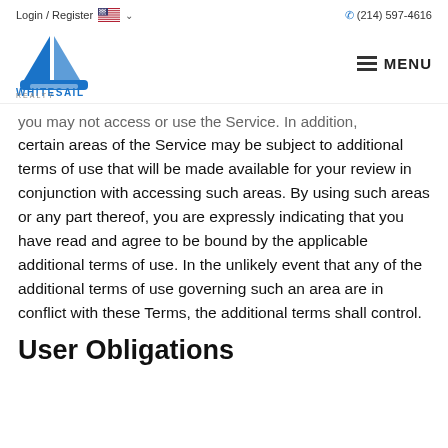Login / Register  (214) 597-4616
[Figure (logo): WhiteSail Realty logo with sailboat icon and MENU hamburger icon]
you may not access or use the Service. In addition, certain areas of the Service may be subject to additional terms of use that will be made available for your review in conjunction with accessing such areas. By using such areas or any part thereof, you are expressly indicating that you have read and agree to be bound by the applicable additional terms of use. In the unlikely event that any of the additional terms of use governing such an area are in conflict with these Terms, the additional terms shall control.
User Obligations